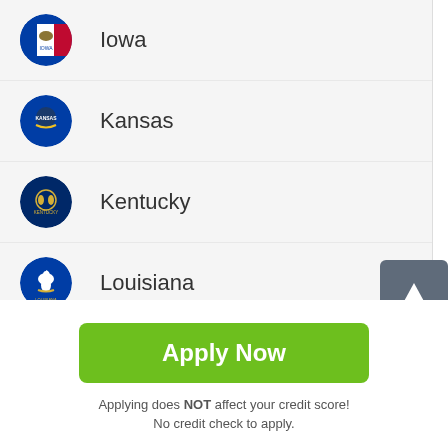Iowa
Kansas
Kentucky
Louisiana
Maine
Maryland
Apply Now
Applying does NOT affect your credit score! No credit check to apply.